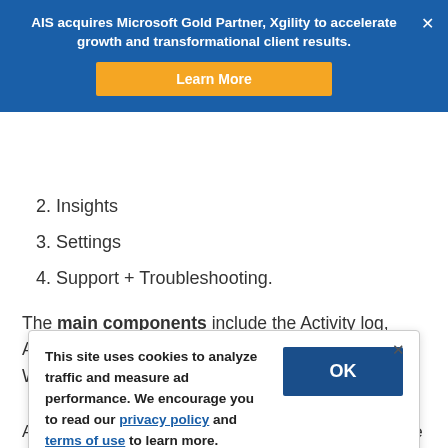AIS acquires Microsoft Gold Partner, Xgility to accelerate growth and transformational client results.
2. Insights
3. Settings
4. Support + Troubleshooting.
The main components include the Activity log, Alerts, Metrics, Logs, Service Health, and Workbooks.
This site uses cookies to analyze traffic and measure ad performance. We encourage you to read our privacy policy and terms of use to learn more.
And finally, under Support + Troubleshooting, there is Usage & estimated costs, Advisor...